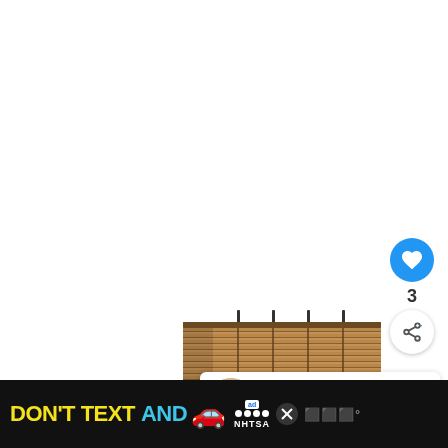[Figure (photo): Bamboo/wood roll-up blind hanging, shown partially unrolled with dark horizontal slats and vertical cords]
[Figure (screenshot): Blue circular heart/like button with white heart icon]
3
[Figure (screenshot): White circular share button with share icon]
[Figure (screenshot): What's Next panel showing thumbnail and title: 17 Dazzling 12 Volt LED...]
[Figure (screenshot): Advertisement banner at bottom: DON'T TEXT AND [car emoji] with NHTSA ad label, close button, and weather widget showing degree symbol]